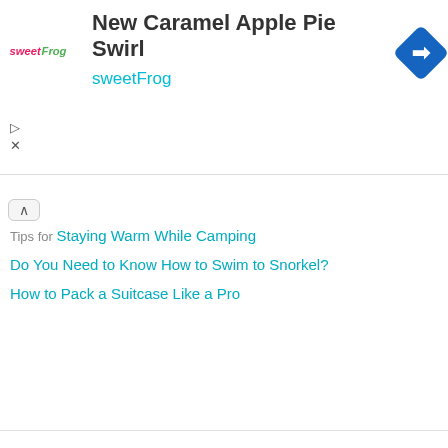[Figure (screenshot): Ad banner for sweetFrog featuring logo, text 'New Caramel Apple Pie Swirl', 'sweetFrog', and a blue direction/navigation icon. Ad controls (play and close) visible on left.]
Tips for Staying Warm While Camping
Do You Need to Know How to Swim to Snorkel?
How to Pack a Suitcase Like a Pro
References
Harvard Health Publications: Air Travel Health Tips
Centers for Disease Control and Prevention: Deep Vein Thrombosis and Pulmonary Embolism
WebMD: Compression Stockings: How to Use Them
About the Author